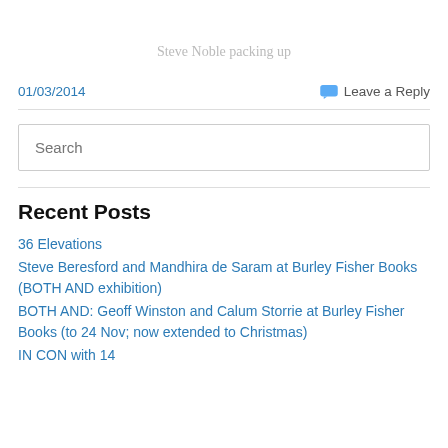Steve Noble packing up
01/03/2014
Leave a Reply
Recent Posts
36 Elevations
Steve Beresford and Mandhira de Saram at Burley Fisher Books (BOTH AND exhibition)
BOTH AND: Geoff Winston and Calum Storrie at Burley Fisher Books (to 24 Nov; now extended to Christmas)
IN CON with 14